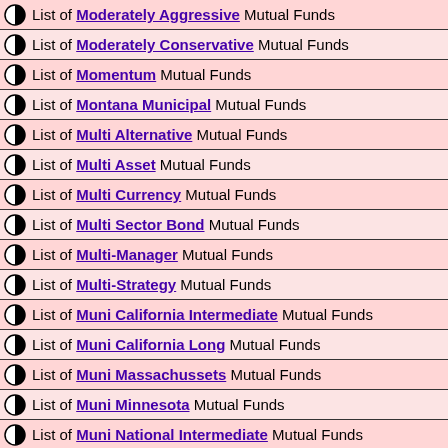List of Moderately Aggressive Mutual Funds
List of Moderately Conservative Mutual Funds
List of Momentum Mutual Funds
List of Montana Municipal Mutual Funds
List of Multi Alternative Mutual Funds
List of Multi Asset Mutual Funds
List of Multi Currency Mutual Funds
List of Multi Sector Bond Mutual Funds
List of Multi-Manager Mutual Funds
List of Multi-Strategy Mutual Funds
List of Muni California Intermediate Mutual Funds
List of Muni California Long Mutual Funds
List of Muni Massachussets Mutual Funds
List of Muni Minnesota Mutual Funds
List of Muni National Intermediate Mutual Funds
List of Muni National Long Mutual Funds
List of Muni National Short Mutual Funds
List of Muni New Jersey Mutual Funds